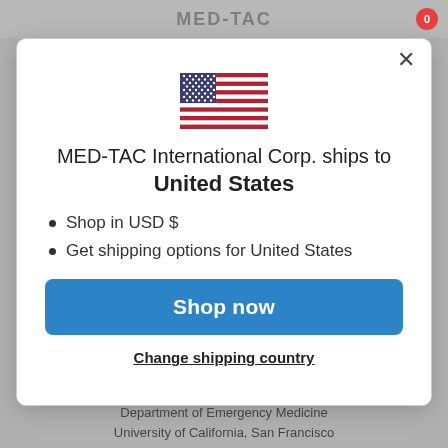[Figure (screenshot): MED-TAC International Corp. website header bar with logo text and cart icon with badge showing 0]
[Figure (illustration): US flag emoji/icon displayed centered in the modal dialog]
MED-TAC International Corp. ships to United States
Shop in USD $
Get shipping options for United States
Shop now
Change shipping country
Department of Emergency Medicine
University of California, San Francisco